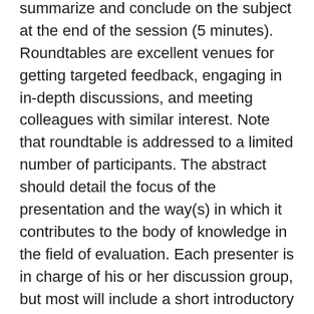summarize and conclude on the subject at the end of the session (5 minutes). Roundtables are excellent venues for getting targeted feedback, engaging in in-depth discussions, and meeting colleagues with similar interest. Note that roundtable is addressed to a limited number of participants. The abstract should detail the focus of the presentation and the way(s) in which it contributes to the body of knowledge in the field of evaluation. Each presenter is in charge of his or her discussion group, but most will include a short introductory presentation (5 to 10 minutes), a discussion (around 45 to 50 minutes) and a conclusion (5 minutes).
Poster Presentation
Duration: 120 minutes